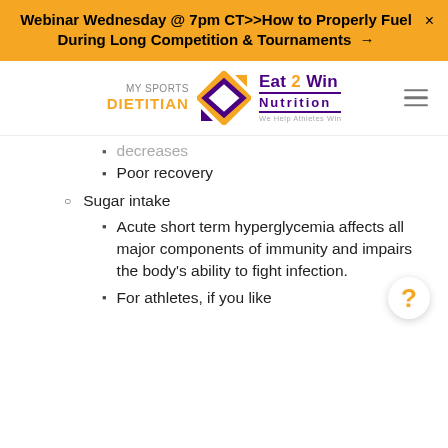Webinar Wednesday @ 7pm CT>>How to Properly Fuel During Long Competition & Tournaments →
[Figure (logo): My Sports Dietitian / Eat 2 Win Nutrition logo with diamond arrow icon]
decreases
Poor recovery
Sugar intake
Acute short term hyperglycemia affects all major components of immunity and impairs the body's ability to fight infection.
For athletes, if you like